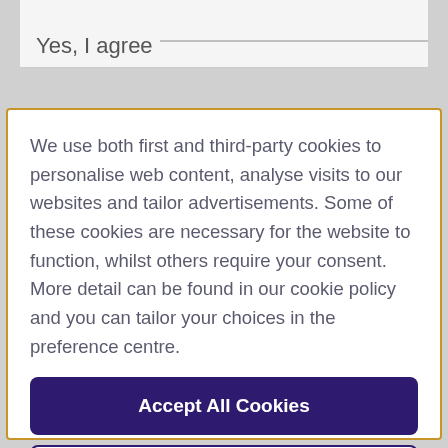Yes, I agree
We use both first and third-party cookies to personalise web content, analyse visits to our websites and tailor advertisements. Some of these cookies are necessary for the website to function, whilst others require your consent. More detail can be found in our cookie policy and you can tailor your choices in the preference centre.
Accept All Cookies
Cookies Settings